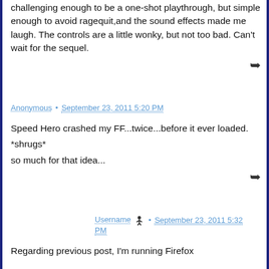challenging enough to be a one-shot playthrough, but simple enough to avoid ragequit,and the sound effects made me laugh. The controls are a little wonky, but not too bad. Can't wait for the sequel.
↪ (reply arrow)
Anonymous • September 23, 2011 5:20 PM
Speed Hero crashed my FF...twice...before it ever loaded.

*shrugs*

so much for that idea...
↪ (reply arrow)
Username 🏃 • September 23, 2011 5:32 PM
Regarding previous post, I'm running Firefox...